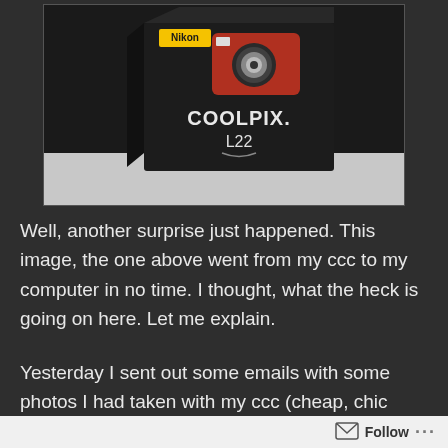[Figure (photo): Photo of a Nikon Coolpix L22 digital camera (red) displayed on its black product box, on a white surface against a dark background.]
Well, another surprise just happened.  This image, the one above went from my ccc to my computer in no time.  I thought, what the heck is going on here.  Let me explain.
Yesterday I sent out some emails with some photos I had taken with my ccc (cheap, chic camera).  The emails along with the pictures went into a black hole.  Nothing happened.  They are somewhere in
Follow